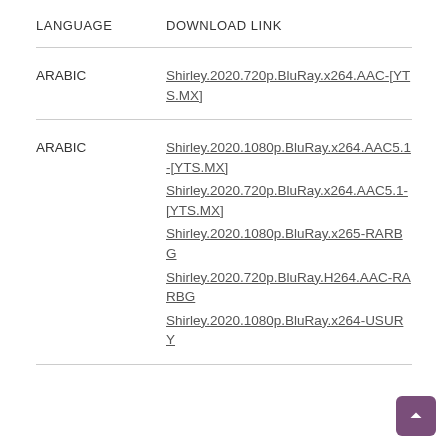| LANGUAGE | DOWNLOAD LINK |
| --- | --- |
| ARABIC | Shirley.2020.720p.BluRay.x264.AAC-[YTS.MX] |
| ARABIC | Shirley.2020.1080p.BluRay.x264.AAC5.1-[YTS.MX]
Shirley.2020.720p.BluRay.x264.AAC5.1-[YTS.MX]
Shirley.2020.1080p.BluRay.x265-RARBG
Shirley.2020.720p.BluRay.H264.AAC-RARBG
Shirley.2020.1080p.BluRay.x264-USURY |